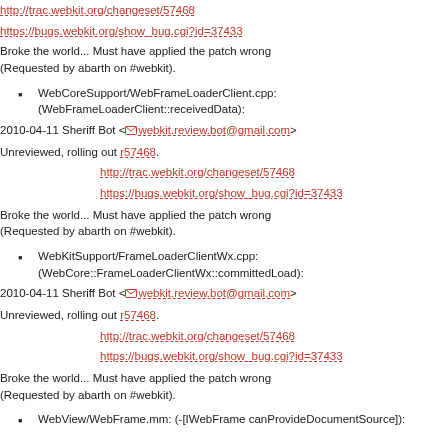http://trac.webkit.org/changeset/57468
https://bugs.webkit.org/show_bug.cgi?id=37433
Broke the world... Must have applied the patch wrong (Requested by abarth on #webkit).
WebCoreSupport/WebFrameLoaderClient.cpp: (WebFrameLoaderClient::receivedData):
2010-04-11 Sheriff Bot <webkit.review.bot@gmail.com>
Unreviewed, rolling out r57468.
http://trac.webkit.org/changeset/57468
https://bugs.webkit.org/show_bug.cgi?id=37433
Broke the world... Must have applied the patch wrong (Requested by abarth on #webkit).
WebKitSupport/FrameLoaderClientWx.cpp: (WebCore::FrameLoaderClientWx::committedLoad):
2010-04-11 Sheriff Bot <webkit.review.bot@gmail.com>
Unreviewed, rolling out r57468.
http://trac.webkit.org/changeset/57468
https://bugs.webkit.org/show_bug.cgi?id=37433
Broke the world... Must have applied the patch wrong (Requested by abarth on #webkit).
WebView/WebFrame.mm: (-[IWebFrame canProvideDocumentSource]):